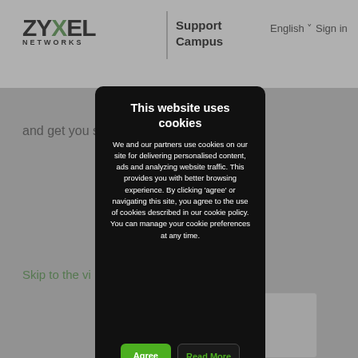[Figure (screenshot): Zyxel Networks Support Campus website header with logo, navigation links English and Sign in]
and get you s
Skip to the vi
Walkthrour
1. Access you   s in the browser addr   vice's credentials (d
This website uses cookies
We and our partners use cookies on our site for delivering personalised content, ads and analyzing website traffic. This provides you with better browsing experience. By clicking ‘agree’ or navigating this site, you agree to the use of cookies described in our cookie policy. You can manage your cookie preferences at any time.
Agree
Read More